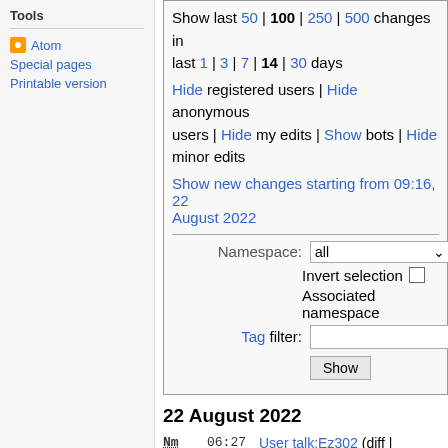Tools
Atom
Special pages
Printable version
Show last 50 | 100 | 250 | 500 changes in last 1 | 3 | 7 | 14 | 30 days
Hide registered users | Hide anonymous users | Hide my edits | Show bots | Hide minor edits
Show new changes starting from 09:16, 22 August 2022
22 August 2022
Nm 06:27 User talk:Ez302 (diff | hist) . . (+290) . . Wmat (talk | contribs) (Welcome!)
Nm 06:27 User:Ez302 (diff | hist) .